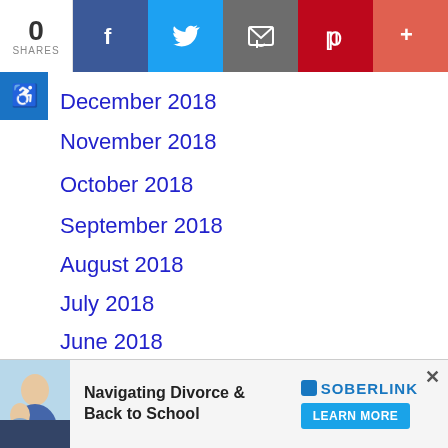0 SHARES | Facebook | Twitter | Email | Pinterest | More
December 2018
November 2018
October 2018
September 2018
August 2018
July 2018
June 2018
May 2018
April 2018
March 2018
February
January 2018
[Figure (other): Advertisement banner: Navigating Divorce & Back to School — SOBERLINK LEARN MORE, with photo of woman and child, close (x) button]